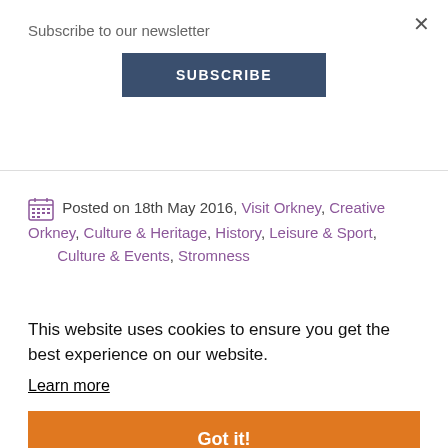×
Subscribe to our newsletter
SUBSCRIBE
Posted on 18th May 2016, Visit Orkney, Creative Orkney, Culture & Heritage, History, Leisure & Sport, Culture & Events, Stromness
This website uses cookies to ensure you get the best experience on our website.
Learn more
Got it!